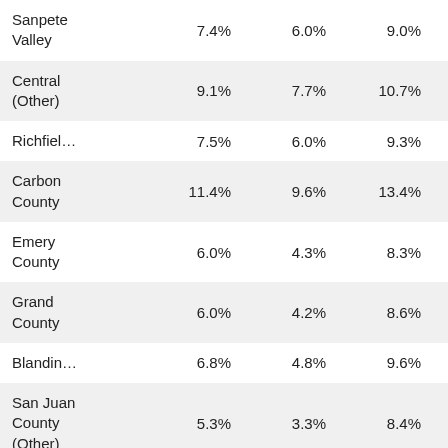|  |  |  |  |  |
| --- | --- | --- | --- | --- |
| Sanpete Valley | 7.4% | 6.0% | 9.0% |  |
| Central (Other) | 9.1% | 7.7% | 10.7% |  |
| Richfiel… | 7.5% | 6.0% | 9.3% |  |
| Carbon County | 11.4% | 9.6% | 13.4% |  |
| Emery County | 6.0% | 4.3% | 8.3% |  |
| Grand County | 6.0% | 4.2% | 8.6% |  |
| Blandin… | 6.8% | 4.8% | 9.6% |  |
| San Juan County (Other) | 5.3% | 3.3% | 8.4% |  |
| St. George | 6.9% | 6.3% | 7.6% |  |
| Washin… |  |  |  |  |